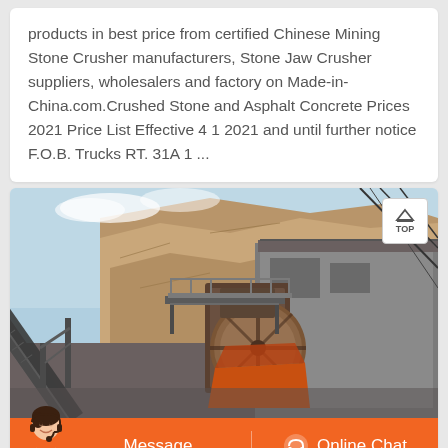products in best price from certified Chinese Mining Stone Crusher manufacturers, Stone Jaw Crusher suppliers, wholesalers and factory on Made-in-China.com.Crushed Stone and Asphalt Concrete Prices 2021 Price List Effective 4 1 2021 and until further notice F.O.B. Trucks RT. 31A 1 ...
[Figure (photo): Outdoor industrial stone crushing facility showing large conveyor belt machinery, crusher equipment with a large flywheel, rocky quarry wall in background, and industrial steel structure. A TOP navigation button is visible in upper right corner.]
[Figure (screenshot): Orange chat bar at bottom with a customer service avatar on the left, a Message button on the left half, and an Online Chat button with headset icon on the right half.]